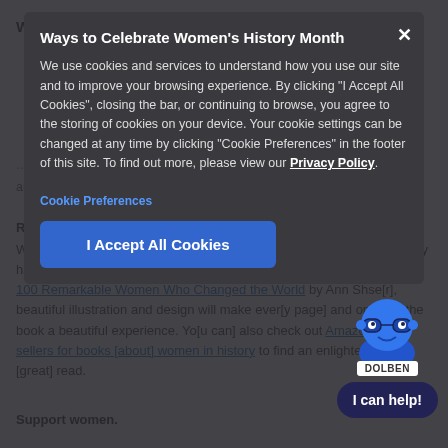Ways to Celebrate Women's History Month
We use cookies and services to understand how you use our site and to improve your browsing experience. By clicking "I Accept All Cookies", closing the bar, or continuing to browse, you agree to the storing of cookies on your device. Your cookie settings can be changed at any time by clicking "Cookie Preferences" in the footer of this site. To find out more, please view our Privacy Policy.
Cookie Preferences
I Accept All Cookies
Read about influential women.
Women's history is human's history, so read up on the [women] you may have heard of but don't know much of. [Women Throughout History: 100 Remarkable Women Who Changed the World] by Ann Shse[r]... beautiful illustration and design will make ever[yone] [picking] and opening the book a beautiful experience. Yo[u can] also check out Amazon's best sellers for books [about] women in history to find an enlightening and [great] read.
Support women.
[Figure (illustration): Blue cartoon chatbot avatar with glasses and a 'DOLBEN' label, with a 'I can help!' speech bubble button below]